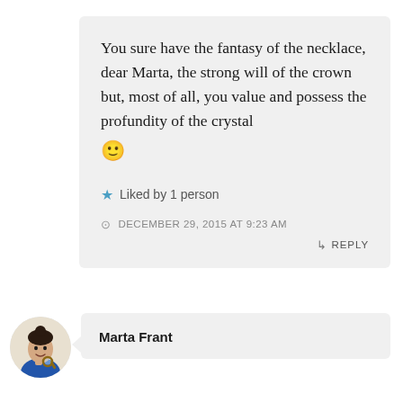You sure have the fantasy of the necklace, dear Marta, the strong will of the crown but, most of all, you value and possess the profundity of the crystal 🙂
★ Liked by 1 person
DECEMBER 29, 2015 AT 9:23 AM
↳ REPLY
[Figure (illustration): Cartoon avatar of a dark-haired woman with a bun hairstyle, wearing blue clothing and holding a magnifying glass]
Marta Frant